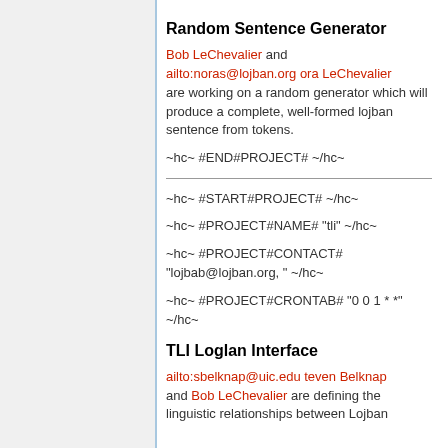Random Sentence Generator
Bob LeChevalier and ailto:noras@lojban.org ora LeChevalier are working on a random generator which will produce a complete, well-formed lojban sentence from tokens.
~hc~ #END#PROJECT# ~/hc~
~hc~ #START#PROJECT# ~/hc~
~hc~ #PROJECT#NAME# "tli" ~/hc~
~hc~ #PROJECT#CONTACT# "lojbab@lojban.org, " ~/hc~
~hc~ #PROJECT#CRONTAB# "0 0 1 * *" ~/hc~
TLI Loglan Interface
ailto:sbelknap@uic.edu teven Belknap and Bob LeChevalier are defining the linguistic relationships between Lojban